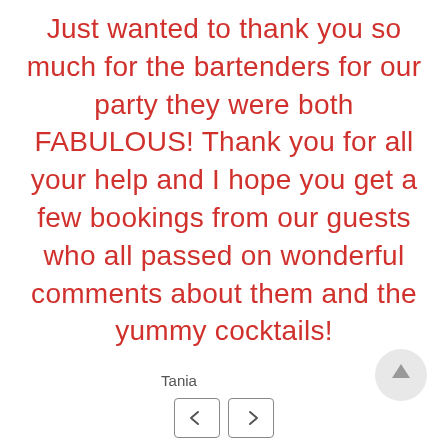Just wanted to thank you so much for the bartenders for our party they were both FABULOUS! Thank you for all your help and I hope you get a few bookings from our guests who all passed on wonderful comments about them and the yummy cocktails!
Tania